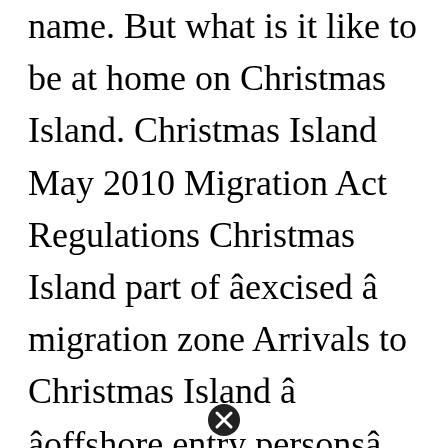name. But what is it like to be at home on Christmas Island. Christmas Island May 2010 Migration Act Regulations Christmas Island part of âexcised â migration zone Arrivals to Christmas Island â âoffshore entry personsâ. The Australian migration zone is a legal device created by the Australian government for the purpose of Australias visa policy and immigration policy as the territory in which Australias visa policy appliesThe Australian migration zone covers such Australian controlled territories as the government may